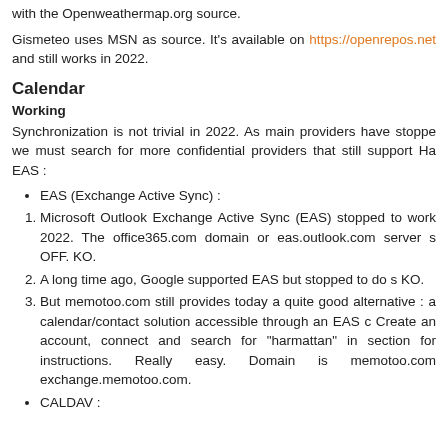Gismeteo uses MSN as source. It's available on https://openrepos.net and still works in 2022.
Calendar
Working
Synchronization is not trivial in 2022. As main providers have stopped, we must search for more confidential providers that still support Harmattan EAS :
EAS (Exchange Active Sync) :
Microsoft Outlook Exchange Active Sync (EAS) stopped to work in 2022. The office365.com domain or eas.outlook.com server set OFF. KO.
A long time ago, Google supported EAS but stopped to do so. KO.
But memotoo.com still provides today a quite good alternative : a calendar/contact solution accessible through an EAS c. Create an account, connect and search for "harmattan" in section for instructions. Really easy. Domain is memotoo.com exchange.memotoo.com.
CALDAV :